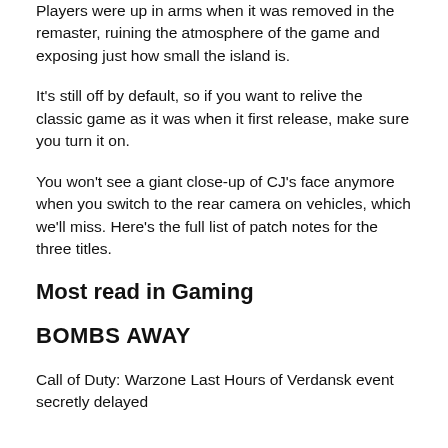Players were up in arms when it was removed in the remaster, ruining the atmosphere of the game and exposing just how small the island is.
It's still off by default, so if you want to relive the classic game as it was when it first release, make sure you turn it on.
You won't see a giant close-up of CJ's face anymore when you switch to the rear camera on vehicles, which we'll miss. Here's the full list of patch notes for the three titles.
Most read in Gaming
BOMBS AWAY
Call of Duty: Warzone Last Hours of Verdansk event secretly delayed